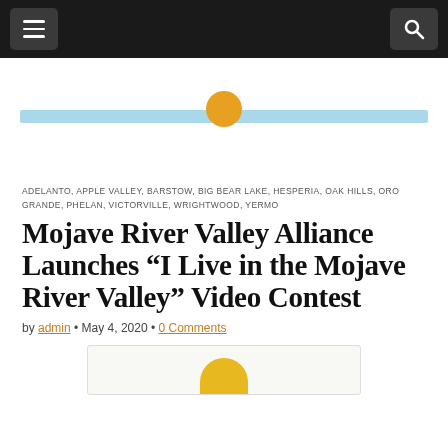Navigation bar with menu and search buttons
[Figure (illustration): Website header banner with a light blue horizontal bar and an orange/gold sun or circular emblem centered above the bar, on a white background.]
ADELANTO, APPLE VALLEY, BARSTOW, BIG BEAR LAKE, HESPERIA, OAK HILLS, ORO GRANDE, PHELAN, VICTORVILLE, WRIGHTWOOD, YERMO
Mojave River Valley Alliance Launches “I Live in the Mojave River Valley” Video Contest
by admin • May 4, 2020 • 0 Comments
[Figure (illustration): Partial view of an article image, showing what appears to be a yellow/gold logo or emblem at the bottom of the page.]